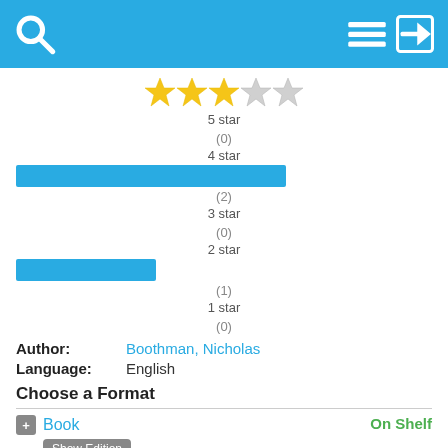Search / Menu / Login icons
[Figure (other): Star rating display showing 3.5 out of 5 stars (3 filled yellow, 1 half, 1 empty)]
5 star
(0)
4 star
[Figure (bar-chart): Star rating distribution]
(2)
3 star
(0)
2 star
(1)
1 star
(0)
Author: Boothman, Nicholas
Language: English
Choose a Format
+ Book  On Shelf
Show Edition
East Regional - Adult Non-Fiction
158.2 BOOTH
Middlecreek Community - Adult Non-